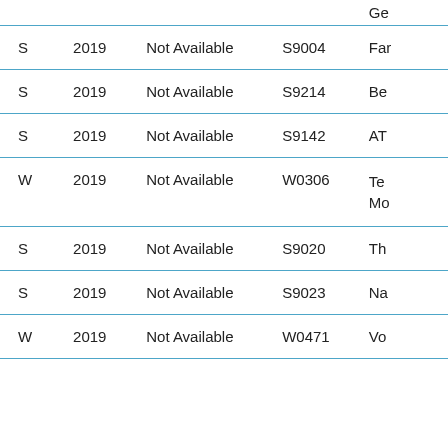| (truncated) | (truncated) | (truncated) | (truncated) | Ge... |
| --- | --- | --- | --- | --- |
| S | 2019 | Not Available | S9004 | Far... |
| S | 2019 | Not Available | S9214 | Be... |
| S | 2019 | Not Available | S9142 | AT... |
| W | 2019 | Not Available | W0306 | Te... Mo... |
| S | 2019 | Not Available | S9020 | Th... |
| S | 2019 | Not Available | S9023 | Na... |
| W | 2019 | Not Available | W0471 | Vo... |